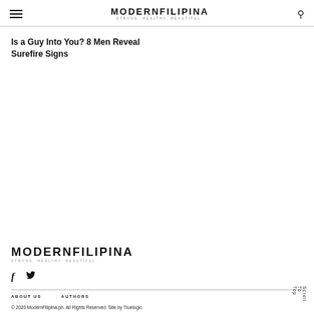MODERNFILIPINA STRONG. HEALTHY. BEAUTIFUL.
Is a Guy Into You? 8 Men Reveal Surefire Signs
[Figure (logo): ModernFilipina logo with tagline STRONG. HEALTHY. BEAUTIFUL.]
[Figure (illustration): Social media icons: Facebook f and Twitter bird]
ABOUT US   AUTHORS   © 2020 ModernFilipina.ph. All Rights Reserved. Site by Truelogic.   Scroll To Top